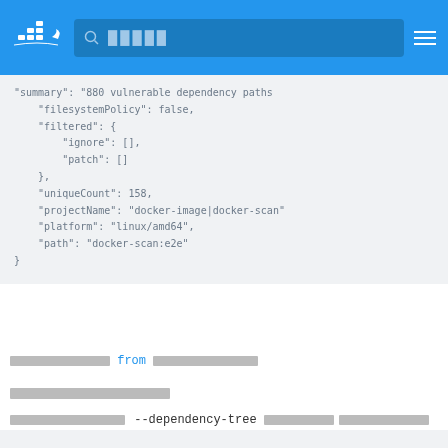Docker navigation bar with logo and search
"summary": "880 vulnerable dependency paths
    "filesystemPolicy": false,
    "filtered": {
        "ignore": [],
        "patch": []
    },
    "uniqueCount": 158,
    "projectName": "docker-image|docker-scan"
    "platform": "linux/amd64",
    "path": "docker-scan:e2e"
}
[redacted] from [redacted]
[redacted]
[redacted] --dependency-tree [redacted] [redacted]